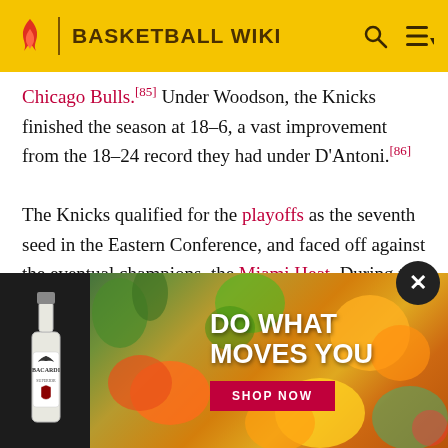BASKETBALL WIKI
Chicago Bulls.[85] Under Woodson, the Knicks finished the season at 18–6, a vast improvement from the 18–24 record they had under D'Antoni.[86]
The Knicks qualified for the playoffs as the seventh seed in the Eastern Conference, and faced off against the eventual champions, the Miami Heat. During the series the Knicks were hampered by injuries as they were a season before. In the series, Tyson Chandler was diagnosed with the flu for game one, Iman Shumpert tore his ACL, Baron Davis tore his patella tendon, and All-Star Amar'e Stoudemire was suspended after punching a fire extinguisher case ... In addition ... before the playoffs started. Despite the injuries, Anthony was able to
[Figure (other): Bacardi advertisement overlay with tropical fruits background. Text reads: DO WHAT MOVES YOU. SHOP NOW button in red.]